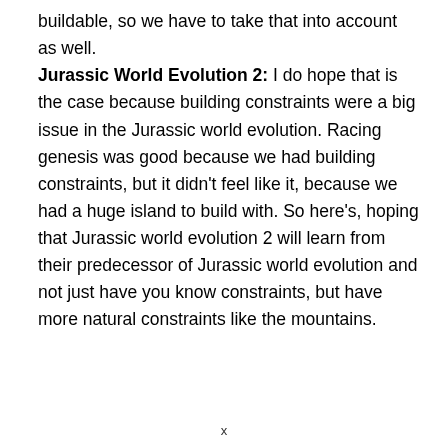buildable, so we have to take that into account as well.
Jurassic World Evolution 2: I do hope that is the case because building constraints were a big issue in the Jurassic world evolution. Racing genesis was good because we had building constraints, but it didn't feel like it, because we had a huge island to build with. So here's, hoping that Jurassic world evolution 2 will learn from their predecessor of Jurassic world evolution and not just have you know constraints, but have more natural constraints like the mountains.
x